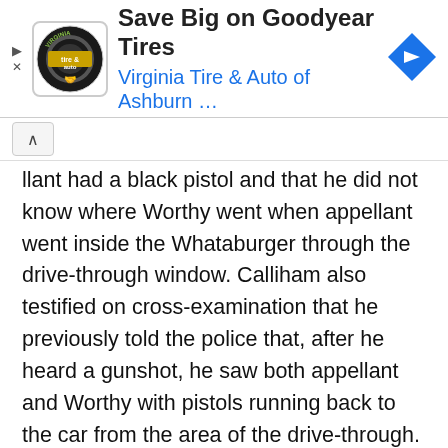[Figure (infographic): Advertisement banner: Virginia Tire & Auto logo, headline 'Save Big on Goodyear Tires', subtext 'Virginia Tire & Auto of Ashburn …', blue navigation arrow icon on right, play and close icons on left]
llant had a black pistol and that he did not know where Worthy went when appellant went inside the Whataburger through the drive-through window. Calliham also testified on cross-examination that he previously told the police that, after he heard a gunshot, he saw both appellant and Worthy with pistols running back to the car from the area of the drive-through.
A county jail inmate (Green) testified that in August 2003 Gerald Marshall told him that he was the one who shot the victim.   Green was facing 25 years to life on pending charges.   He made a deal with the State for a year in the county jail on these charges in exchange for his